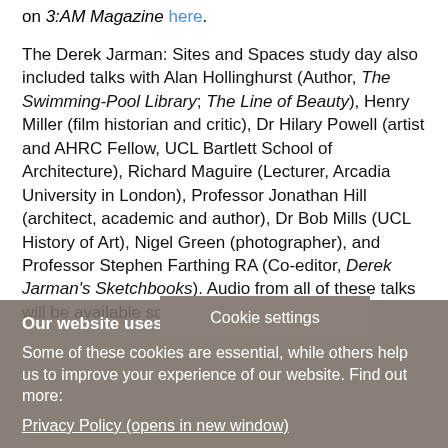on 3:AM Magazine here.
The Derek Jarman: Sites and Spaces study day also included talks with Alan Hollinghurst (Author, The Swimming-Pool Library; The Line of Beauty), Henry Miller (film historian and critic), Dr Hilary Powell (artist and AHRC Fellow, UCL Bartlett School of Architecture), Richard Maguire (Lecturer, Arcadia University in London), Professor Jonathan Hill (architect, academic and author), Dr Bob Mills (UCL History of Art), Nigel Green (photographer), and Professor Stephen Farthing RA (Co-editor, Derek Jarman's Sketchbooks). Audio from all of these talk… soon on our
Cookie settings
Our website uses cookies
Some of these cookies are essential, while others help us to improve your experience of our website. Find out more:
Privacy Policy (opens in new window)